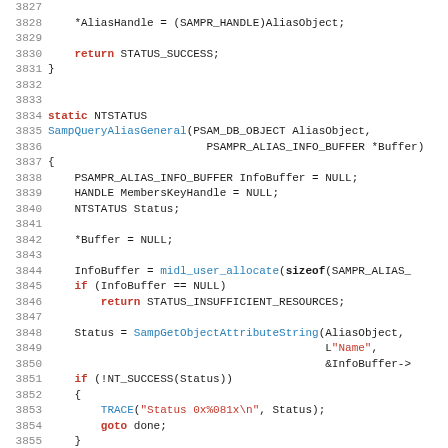[Figure (screenshot): Source code listing in C showing lines 3827-3859 of a SAM (Security Account Manager) implementation. Functions shown include end of a function returning STATUS_SUCCESS and the beginning of SampQueryAliasGeneral function. Code uses monospace font with syntax highlighting: keywords in red/bold, function names in blue, string literals in red.]